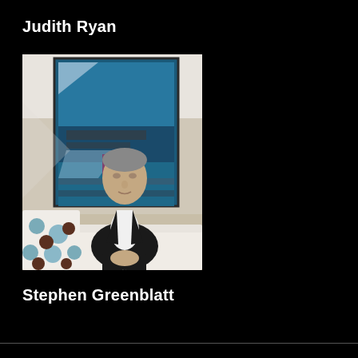Judith Ryan
[Figure (photo): Portrait photograph of Stephen Greenblatt, an older man with grey hair wearing a dark blazer and white shirt, seated on a white surface in front of an abstract blue wall artwork, with a polka-dot pillow visible to his left.]
Stephen Greenblatt